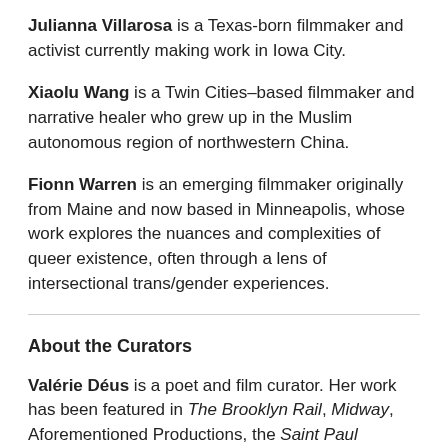Julianna Villarosa is a Texas-born filmmaker and activist currently making work in Iowa City.
Xiaolu Wang is a Twin Cities–based filmmaker and narrative healer who grew up in the Muslim autonomous region of northwestern China.
Fionn Warren is an emerging filmmaker originally from Maine and now based in Minneapolis, whose work explores the nuances and complexities of queer existence, often through a lens of intersectional trans/gender experiences.
About the Curators
Valérie Déus is a poet and film curator. Her work has been featured in The Brooklyn Rail, Midway, Aforementioned Productions, the Saint Paul Almanac, and most recently in The BeZine. Her book, Skull-Filled Sun, is available on Amazon. When she's not writing, she hosts Project 35, a local low-fi radio show featuring a mix of music from around